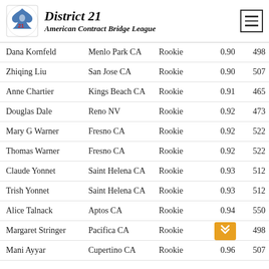District 21 American Contract Bridge League
| Name | City | Rank | Score | Num |
| --- | --- | --- | --- | --- |
| Dana Kornfeld | Menlo Park CA | Rookie | 0.90 | 498 |
| Zhiqing Liu | San Jose CA | Rookie | 0.90 | 507 |
| Anne Chartier | Kings Beach CA | Rookie | 0.91 | 465 |
| Douglas Dale | Reno NV | Rookie | 0.92 | 473 |
| Mary G Warner | Fresno CA | Rookie | 0.92 | 522 |
| Thomas Warner | Fresno CA | Rookie | 0.92 | 522 |
| Claude Yonnet | Saint Helena CA | Rookie | 0.93 | 512 |
| Trish Yonnet | Saint Helena CA | Rookie | 0.93 | 512 |
| Alice Talnack | Aptos CA | Rookie | 0.94 | 550 |
| Margaret Stringer | Pacifica CA | Rookie | 0.95 | 498 |
| Mani Ayyar | Cupertino CA | Rookie | 0.96 | 507 |